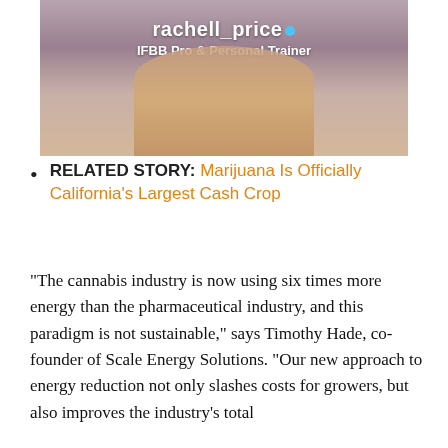[Figure (photo): Instagram profile photo of rachell_price, IFBB Pro & Personal Trainer, holding a product jar, wearing a leopard print bikini]
RELATED STORY: Marijuana Is Officially California's Largest Cash Crop
“The cannabis industry is now using six times more energy than the pharmaceutical industry, and this paradigm is not sustainable,” says Timothy Hade, co-founder of Scale Energy Solutions. “Our new approach to energy reduction not only slashes costs for growers, but also improves the industry’s total